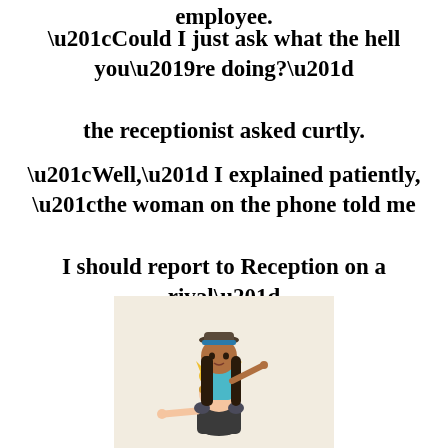employee.
“Could I just ask what the hell you’re doing?”
the receptionist asked curtly.
“Well,” I explained patiently, “the woman on the phone told me
I should report to Reception on a rival”
[Figure (illustration): Cartoon illustration of a woman with long dark hair wearing a hat and blue top, riding on the shoulders of a blonde anime-style character who is pointing forward.]